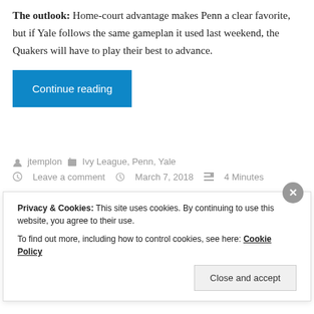The outlook: Home-court advantage makes Penn a clear favorite, but if Yale follows the same gameplan it used last weekend, the Quakers will have to play their best to advance.
Continue reading
jtemplon   Ivy League, Penn, Yale   Leave a comment   March 7, 2018   4 Minutes
Privacy & Cookies: This site uses cookies. By continuing to use this website, you agree to their use.
To find out more, including how to control cookies, see here: Cookie Policy
Close and accept